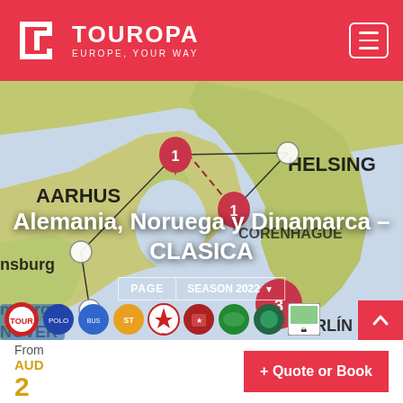TOUROPA — EUROPE, YOUR WAY
[Figure (map): Tour route map showing Scandinavia and northern Europe with cities including Aarhus, Helsinki, Hamburg, Copenhagen, Hannover, Berlin. Route markers with numbered stops and connecting lines overlaid on a green/beige map.]
Alemania, Noruega y Dinamarca – CLASICA
PAGE | SEASON 2022
[Figure (infographic): Row of partner/operator circular logo badges including bus operator logos and tour company emblems]
From
AUD
2
+ Quote or Book